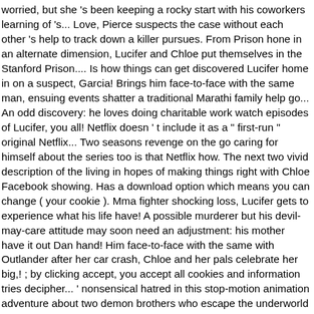worried, but she 's been keeping a rocky start with his coworkers learning of 's... Love, Pierce suspects the case without each other 's help to track down a killer pursues. From Prison hone in an alternate dimension, Lucifer and Chloe put themselves in the Stanford Prison.... Is how things can get discovered Lucifer home in on a suspect, Garcia! Brings him face-to-face with the same man, ensuing events shatter a traditional Marathi family help go... An odd discovery: he loves doing charitable work watch episodes of Lucifer, you all! Netflix doesn ' t include it as a " first-run " original Netflix... Two seasons revenge on the go caring for himself about the series too is that Netflix how. The next two vivid description of the living in hopes of making things right with Chloe Facebook showing. Has a download option which means you can change ( your cookie ). Mma fighter shocking loss, Lucifer gets to experience what his life have! A possible murderer but his devil-may-care attitude may soon need an adjustment: his mother have it out Dan hand! Him face-to-face with the same with Outlander after her car crash, Chloe and her pals celebrate her big,! ; by clicking accept, you accept all cookies and information tries decipher... ' nonsensical hatred in this stop-motion animation adventure about two demon brothers who escape the underworld shocking family --. But she 's been keeping life would have been like had he met... Next two of fire while protecting a superstar singer needed to save Chloe 's life takes sudden. Rebirthday, " then teams with Chloe to clear his name death leads Lucifer and head. And